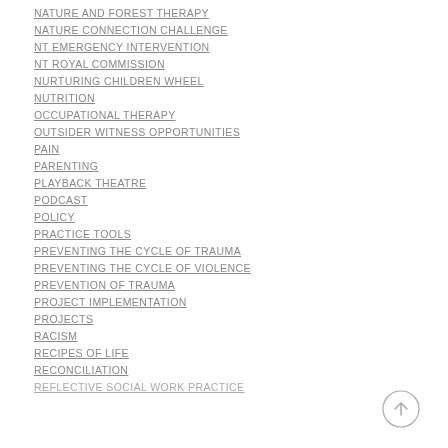NATURE AND FOREST THERAPY
NATURE CONNECTION CHALLENGE
NT EMERGENCY INTERVENTION
NT ROYAL COMMISSION
NURTURING CHILDREN WHEEL
NUTRITION
OCCUPATIONAL THERAPY
OUTSIDER WITNESS OPPORTUNITIES
PAIN
PARENTING
PLAYBACK THEATRE
PODCAST
POLICY
PRACTICE TOOLS
PREVENTING THE CYCLE OF TRAUMA
PREVENTING THE CYCLE OF VIOLENCE
PREVENTION OF TRAUMA
PROJECT IMPLEMENTATION
PROJECTS
RACISM
RECIPES OF LIFE
RECONCILIATION
REFLECTIVE SOCIAL WORK PRACTICE